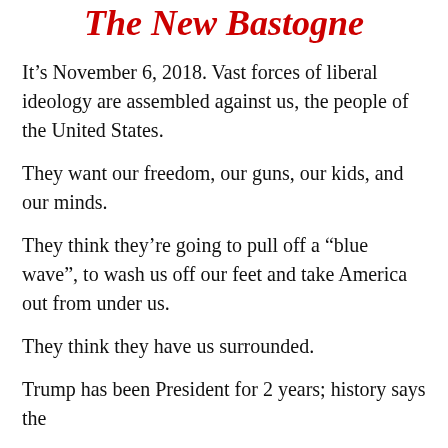The New Bastogne
It’s November 6, 2018. Vast forces of liberal ideology are assembled against us, the people of the United States.
They want our freedom, our guns, our kids, and our minds.
They think they’re going to pull off a “blue wave”, to wash us off our feet and take America out from under us.
They think they have us surrounded.
Trump has been President for 2 years; history says the